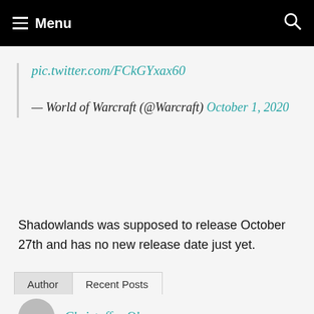Menu
pic.twitter.com/FCkGYxax60
— World of Warcraft (@Warcraft) October 1, 2020
Shadowlands was supposed to release October 27th and has no new release date just yet.
Author   Recent Posts
Christoffer Olsson